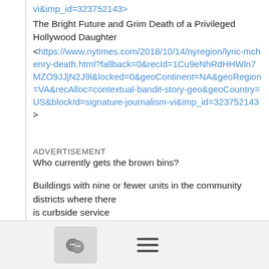vi&imp_id=323752143>
The Bright Future and Grim Death of a Privileged Hollywood Daughter
<https://www.nytimes.com/2018/10/14/nyregion/lyric-mchenry-death.html?fallback=0&recId=1Cu9eNhRdHHWln7MZO9JJjN2J9l&locked=0&geoContinent=NA&geoRegion=VA&recAlloc=contextual-bandit-story-geo&geoCountry=US&blockId=signature-journalism-vi&imp_id=323752143>
ADVERTISEMENT
Who currently gets the brown bins?
Buildings with nine or fewer units in the community districts where there is curbside service